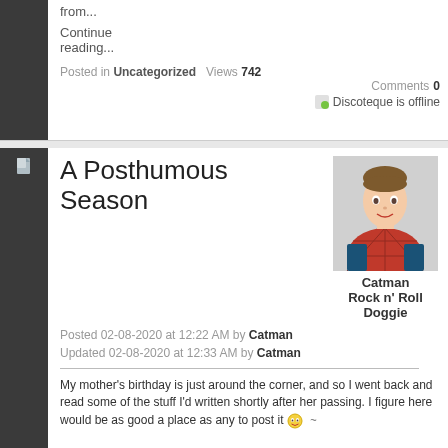from...
Continue reading...
Posted in Uncategorized  Views 742  Comments 0
[Figure (other): Discoteque is offline icon with green dot]
[Figure (other): Document/page icon on dark sidebar]
A Posthumous Season
[Figure (photo): Profile photo of user Catman dressed as Spider-Man]
Posted 02-08-2020 at 12:22 AM by Catman Updated 02-08-2020 at 12:33 AM by Catman
Catman Rock n' Roll Doggie
My mother's birthday is just around the corner, and so I went back and read some of the stuff I'd written shortly after her passing. I figure here would be as good a place as any to post it 😊